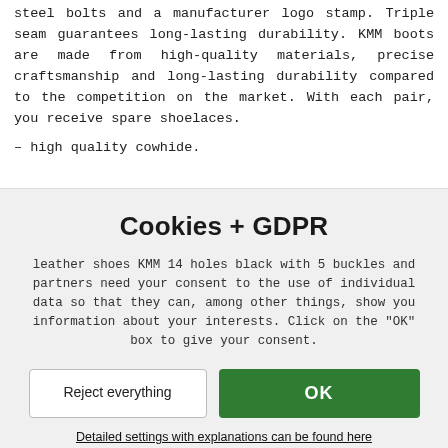steel bolts and a manufacturer logo stamp. Triple seam guarantees long-lasting durability. KMM boots are made from high-quality materials, precise craftsmanship and long-lasting durability compared to the competition on the market. With each pair, you receive spare shoelaces.
- high quality cowhide.
Cookies + GDPR
leather shoes KMM 14 holes black with 5 buckles and partners need your consent to the use of individual data so that they can, among other things, show you information about your interests. Click on the "OK" box to give your consent.
Reject everything | OK
Detailed settings with explanations can be found here